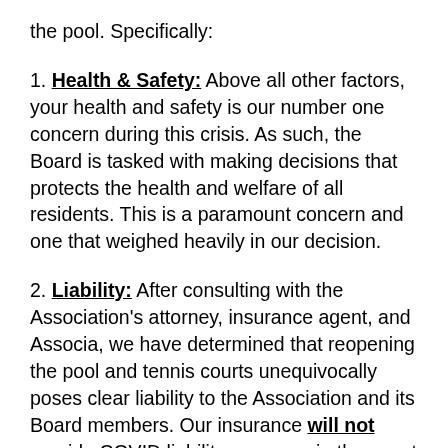the pool. Specifically:
1. Health & Safety: Above all other factors, your health and safety is our number one concern during this crisis. As such, the Board is tasked with making decisions that protects the health and welfare of all residents. This is a paramount concern and one that weighed heavily in our decision.
2. Liability: After consulting with the Association's attorney, insurance agent, and Associa, we have determined that reopening the pool and tennis courts unequivocally poses clear liability to the Association and its Board members. Our insurance will not provide COVID liability coverage in the event that someone sues the Association claiming the individual contracted the virus, while using one of our amenities. If this were to happen, we would